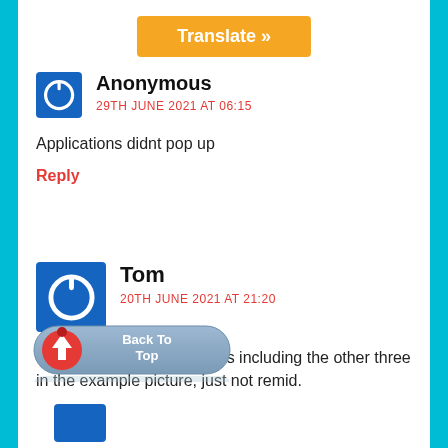[Figure (other): Orange Translate button]
Anonymous
29TH JUNE 2021 AT 06:15
Applications didnt pop up
Reply
Tom
20TH JUNE 2021 AT 21:20
Yes, there are other cookies including the other three in the example picture, just not remid.
[Figure (other): Back To Top button with red arrow icon]
Reply